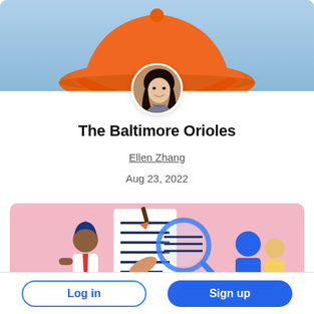[Figure (illustration): Header banner with light blue sky background and orange baseball cap illustration]
[Figure (photo): Circular profile photo of a young Asian woman smiling, with long dark hair]
The Baltimore Orioles
Ellen Zhang
Aug 23, 2022
[Figure (illustration): Pink background illustration showing people reviewing a document with a magnifying glass]
[Figure (other): Bottom bar with Log in and Sign up buttons]